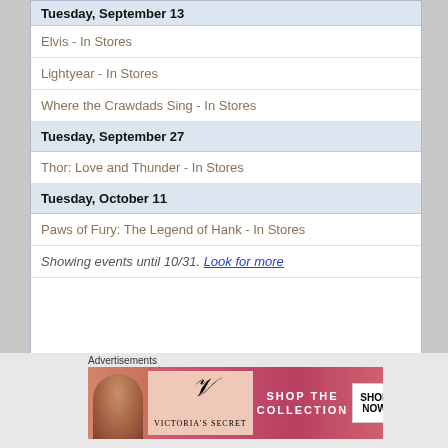Tuesday, September 13
Elvis - In Stores
Lightyear - In Stores
Where the Crawdads Sing - In Stores
Tuesday, September 27
Thor: Love and Thunder - In Stores
Tuesday, October 11
Paws of Fury: The Legend of Hank - In Stores
Showing events until 10/31. Look for more
[Figure (infographic): Victoria's Secret advertisement banner with pink gradient background, VS logo, 'SHOP THE COLLECTION' text, and 'SHOP NOW' button]
Advertisements